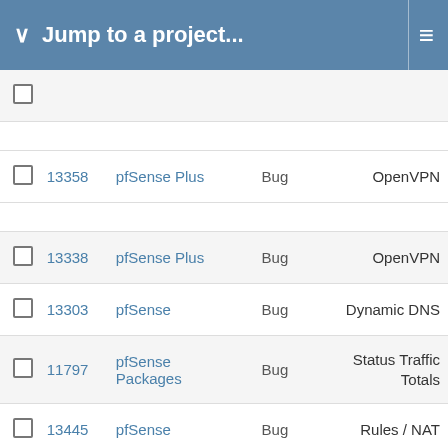Jump to a project...
|  | # | Project | Type | Category |
| --- | --- | --- | --- | --- |
|  |  |  |  |  |
|  | 13358 | pfSense Plus | Bug | OpenVPN |
|  | 13338 | pfSense Plus | Bug | OpenVPN |
|  | 13303 | pfSense | Bug | Dynamic DNS |
|  | 11797 | pfSense Packages | Bug | Status Traffic Totals |
|  | 13445 | pfSense | Bug | Rules / NAT |
|  | 13422 | pfSense | Bug | IPv6 Router Advertisements |